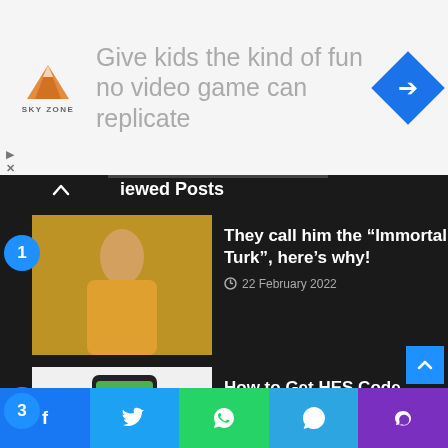[Figure (screenshot): Advertisement banner: Sky Zone logo with mountain icon, text 'Give kids the kind of fun no video game can replicate', blue diamond arrow icon on right]
Viewed Posts
They call him the “Immortal Turk”, here’s why! • 22 February 2022
How to Get HES Code Foreigners in Turkey? • 18 May 2021
The consequences of overstaying in Turkey • 12 October 2020